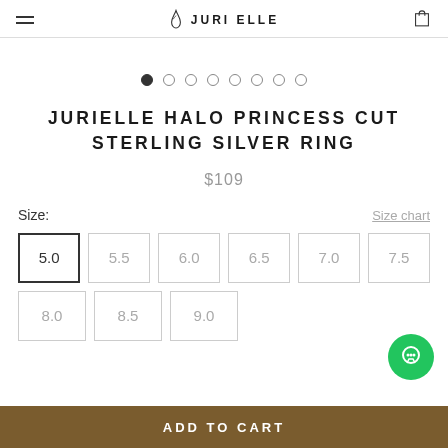JURI ELLE
JURIELLE HALO PRINCESS CUT STERLING SILVER RING
$109
Size: Size chart
5.0
5.5
6.0
6.5
7.0
7.5
8.0
8.5
9.0